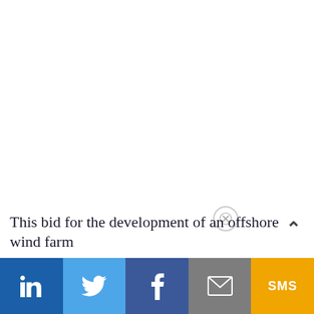This bid for the development of an offshore wind farm
[Figure (infographic): Social share bar with LinkedIn, Twitter, Facebook, Email, and SMS buttons at the bottom of the page, plus an up-arrow caret and a close (X) button overlay]
in  [Twitter bird icon]  f  [envelope icon]  SMS